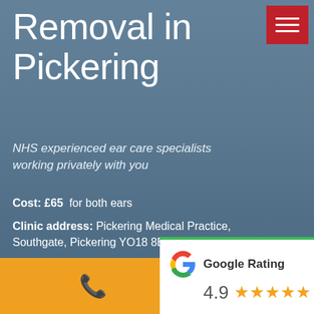Removal in Pickering
NHS experienced ear care specialists working privately with you
Cost: £65 for both ears
Clinic address: Pickering Medical Practice, Southgate, Pickering YO18 8BL
Need an appointment? call 0800 002 9503 now or fill in the form
[Figure (logo): Google Rating badge showing 4.9 stars with Google G logo]